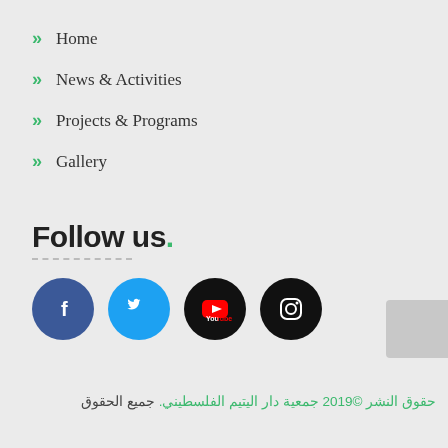Home
News & Activities
Projects & Programs
Gallery
Follow us.
[Figure (illustration): Social media icons: Facebook (blue circle), Twitter (light blue circle), YouTube (black circle), Instagram (black circle)]
حقوق النشر ©2019 جمعية دار اليتيم الفلسطيني. جميع الحقوق